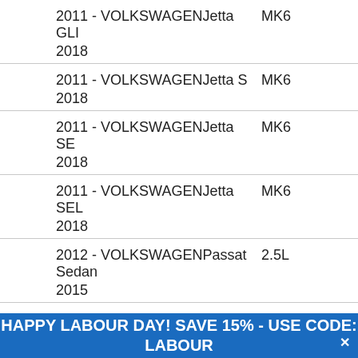| Vehicle | Engine/Trim |
| --- | --- |
| 2011 - VOLKSWAGENJetta GLI
2018 | MK6 |
| 2011 - VOLKSWAGENJetta S
2018 | MK6 |
| 2011 - VOLKSWAGENJetta SE
2018 | MK6 |
| 2011 - VOLKSWAGENJetta SEL
2018 | MK6 |
| 2012 - VOLKSWAGENPassat Sedan
2015 | 2.5L |
| 2012 - VOLKSWAGENBeetle
2016 | 1.8T |
| 2012 - VOLKSWAGENBeetle
2016 | 2.5L |
| 2012 - VOLKSWAGENBeetle | TDI |
HAPPY LABOUR DAY! SAVE 15% - USE CODE: LABOUR